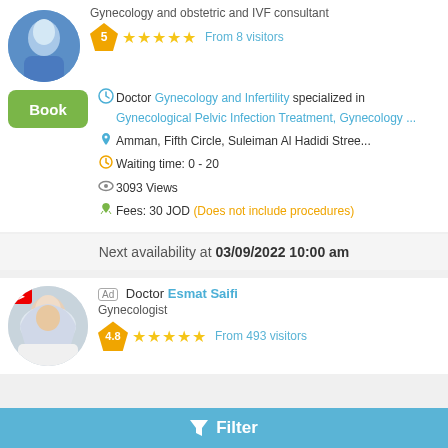Gynecology and obstetric and IVF consultant
5 ★★★★★ From 8 visitors
Doctor Gynecology and Infertility specialized in Gynecological Pelvic Infection Treatment, Gynecology ...
Amman, Fifth Circle, Suleiman Al Hadidi Stree...
Waiting time: 0 - 20
3093 Views
Fees: 30 JOD (Does not include procedures)
Next availability at 03/09/2022 10:00 am
Ad Doctor Esmat Saifi
Gynecologist
4.8 ★★★★★ From 493 visitors
Filter